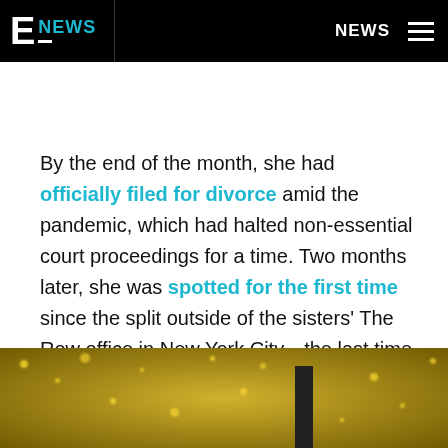E! NEWS | NEWS
By the end of the month, she had officially filed for divorce amid the pandemic, which had halted non-essential court proceedings for a time. Two months later, she was spotted for the first time since the split outside of the sisters' The Row office in New York City—the last time either star had been seen.
[Figure (photo): Bokeh/glittery gold background photo, partially visible at bottom of page]